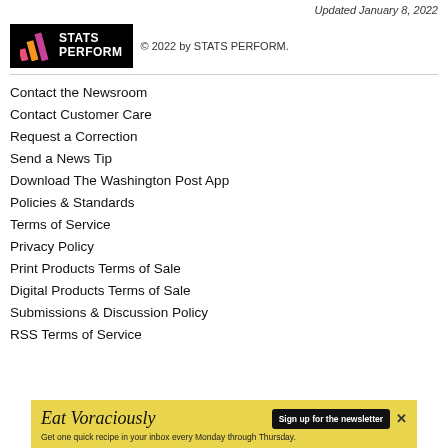Updated January 8, 2022
[Figure (logo): STATS PERFORM logo in black box with colored stripes]
© 2022 by STATS PERFORM.
Contact the Newsroom
Contact Customer Care
Request a Correction
Send a News Tip
Download The Washington Post App
Policies & Standards
Terms of Service
Privacy Policy
Print Products Terms of Sale
Digital Products Terms of Sale
Submissions & Discussion Policy
RSS Terms of Service
[Figure (infographic): Eat Voraciously newsletter advertisement banner with yellow background]